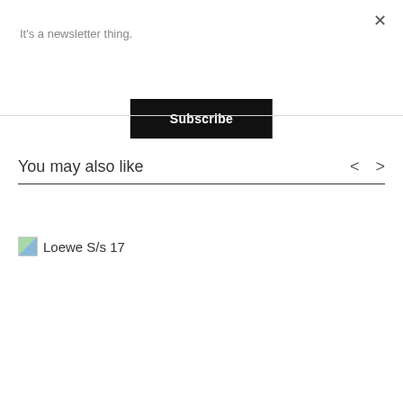It's a newsletter thing.
Subscribe
You may also like
[Figure (other): Broken image placeholder with text 'Loewe S/s 17']